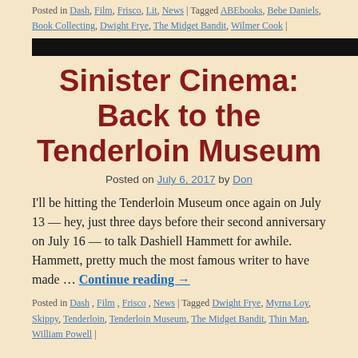Posted in Dash, Film, Frisco, Lit, News | Tagged ABEbooks, Bebe Daniels, Book Collecting, Dwight Frye, The Midget Bandit, Wilmer Cook |
[Figure (other): Black horizontal bar divider]
Sinister Cinema: Back to the Tenderloin Museum
Posted on July 6, 2017 by Don
I'll be hitting the Tenderloin Museum once again on July 13 — hey, just three days before their second anniversary on July 16 — to talk Dashiell Hammett for awhile. Hammett, pretty much the most famous writer to have made … Continue reading →
Posted in Dash, Film, Frisco, News | Tagged Dwight Frye, Myrna Loy, Skippy, Tenderloin, Tenderloin Museum, The Midget Bandit, Thin Man, William Powell |